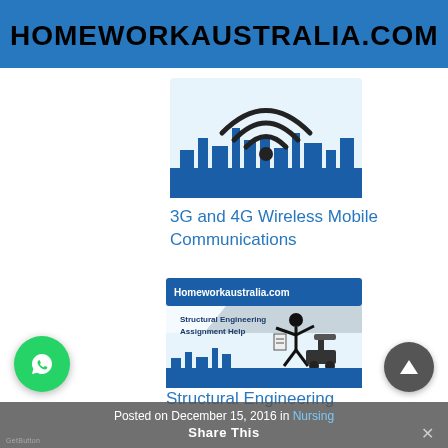HOMEWORKAUSTRALIA.COM
[Figure (illustration): Wireless/WiFi signal icon over a city skyline silhouette in blue tones]
3G and 4G Wireless Mobile Communications
[Figure (illustration): Homeworkaustralia.com Structural Engineering Assignment Help banner with construction worker and excavator over city skyline]
Structural Engineering
Posted on December 15, 2016 in Nursing
Share This